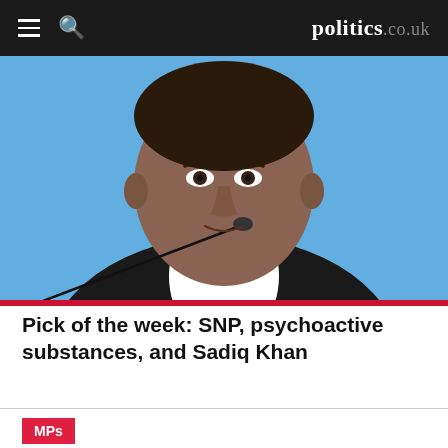politics.co.uk
[Figure (photo): Close-up photo of Sadiq Khan speaking at a podium with a microphone, against a blue background, wearing a dark suit and white shirt.]
Pick of the week: SNP, psychoactive substances, and Sadiq Khan
MPs
Susan Jones